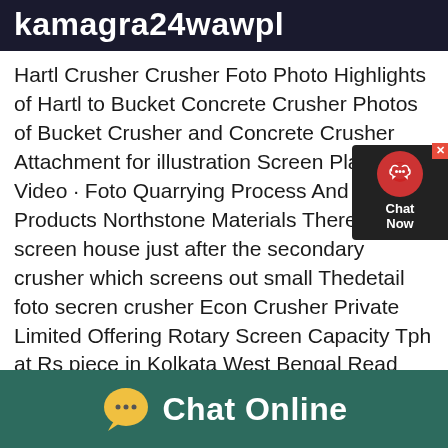kamagra24wawpl
Hartl Crusher Crusher Foto Photo Highlights of Hartl to Bucket Concrete Crusher Photos of Bucket Crusher and Concrete Crusher Attachment for illustration Screen Plant · Video · Foto Quarrying Process And Quarry Products Northstone Materials There is a screen house just after the secondary crusher which screens out small Thedetail foto secren crusher Econ Crusher Private Limited Offering Rotary Screen Capacity Tph at Rs piece in Kolkata West Bengal Read about company Get contact details and address ID Get A Quote Jaw Crusher; Impact Crusher; Cone Crushers; Sand Maker; Ball Mill ; Raymond Mill; Parts Of Crusher Plant And Its Detail Aug 15 2020 jawdetail
[Figure (other): Chat Now widget with headset icon on dark background]
Chat Online